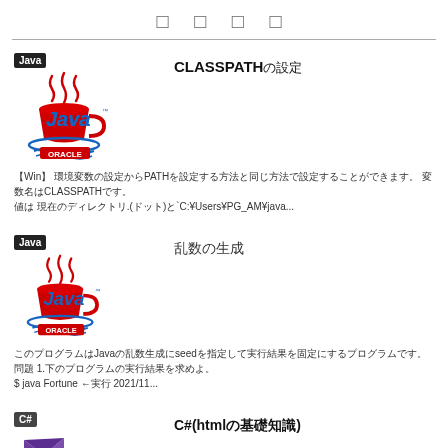□ □ □ □
[Figure (logo): Java Oracle logo with red coffee cup steam and blue waves, ORACLE badge]
CLASSPATHの設定
【Win】 環境変数の設定からPATHを設定する方法と同じ方法で設定することができます。 変数名はCLASSPATHです。 値は 現在のディレクトリ.(ドット)と`C:¥Users¥PG_AM¥java...
[Figure (logo): Java Oracle logo with red coffee cup steam and blue waves, ORACLE badge]
乱数の生成
このプログラムはJavaの乱数生成にseedを指定して実行結果を固定にするプログラムです。 問題 1.下のプログラムの実行結果を求めよ。 $ java Fortune ←実行 2021/11...
[Figure (logo): Visual Studio C# purple logo]
C#(htmlの基礎知識)